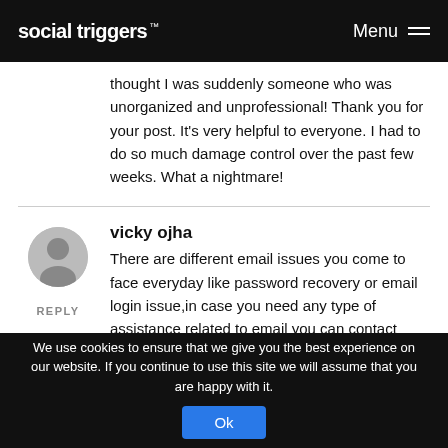social triggers™  Menu
thought I was suddenly someone who was unorganized and unprofessional! Thank you for your post. It's very helpful to everyone. I had to do so much damage control over the past few weeks. What a nightmare!
vicky ojha
There are different email issues you come to face everyday like password recovery or email login issue,in case you need any type of assistance related to email you can contact experts
We use cookies to ensure that we give you the best experience on our website. If you continue to use this site we will assume that you are happy with it.